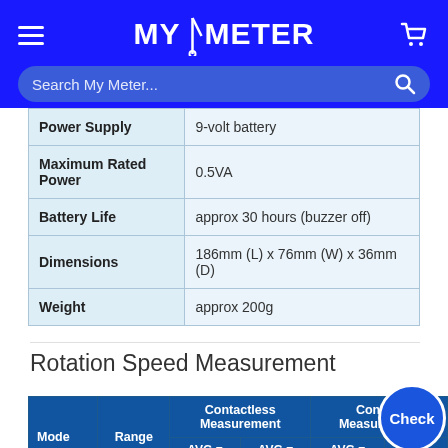MY/METER
| Property | Value |
| --- | --- |
| Power Supply | 9-volt battery |
| Maximum Rated Power | 0.5VA |
| Battery Life | approx 30 hours (buzzer off) |
| Dimensions | 186mm (L) x 76mm (W) x 36mm (D) |
| Weight | approx 200g |
Rotation Speed Measurement
| Mode | Range | Contactless Measurement AVG = ON | Contactless Measurement AVG = OFF | Contact Measurement AVG = ON | Contact Measurement AVG = OFF |
| --- | --- | --- | --- | --- | --- |